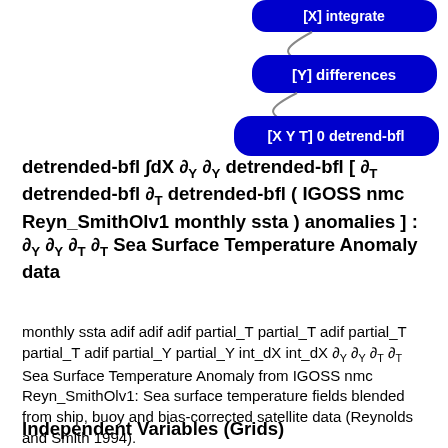[Figure (infographic): Two blue rounded-rectangle buttons: '[Y] differences' and '[X Y T] 0 detrend-bfl', connected by curved lines, positioned at top right of page.]
detrended-bfl ∫dX ∂Y ∂Y detrended-bfl [ ∂T detrended-bfl ∂T detrended-bfl ( IGOSS nmc Reyn_SmithOlv1 monthly ssta ) anomalies ] : ∂Y ∂Y ∂T ∂T Sea Surface Temperature Anomaly data
monthly ssta adif adif adif partial_T partial_T adif partial_T partial_T adif partial_Y partial_Y int_dX int_dX ∂Y ∂Y ∂T ∂T Sea Surface Temperature Anomaly from IGOSS nmc Reyn_SmithOlv1: Sea surface temperature fields blended from ship, buoy and bias-corrected satellite data (Reynolds and Smith 1994).
Independent Variables (Grids)